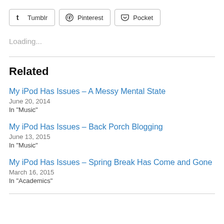[Figure (other): Social share buttons: Tumblr, Pinterest, Pocket]
Loading...
Related
My iPod Has Issues – A Messy Mental State
June 20, 2014
In "Music"
My iPod Has Issues – Back Porch Blogging
June 13, 2015
In "Music"
My iPod Has Issues – Spring Break Has Come and Gone
March 16, 2015
In "Academics"